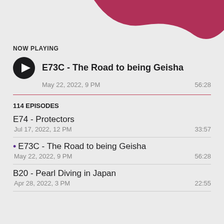[Figure (illustration): Decorative crimson/dark pink wave shape in the top-right corner of the page]
NOW PLAYING
E73C - The Road to being Geisha
May 22, 2022, 9 PM  56:28
114 EPISODES
E74 - Protectors
Jul 17, 2022, 12 PM  33:57
• E73C - The Road to being Geisha
May 22, 2022, 9 PM  56:28
B20 - Pearl Diving in Japan
Apr 28, 2022, 3 PM  22:55